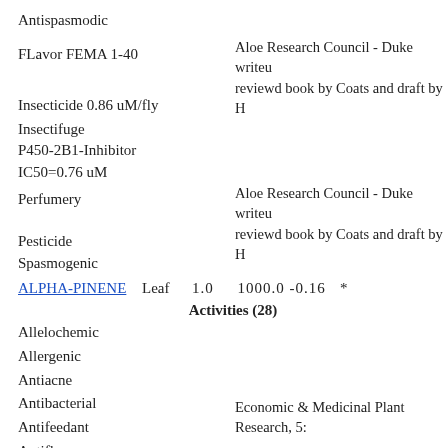Antispasmodic
FLavor FEMA 1-40
Aloe Research Council - Duke writeup reviewd book by Coats and draft by H
Insecticide 0.86 uM/fly
Insectifuge
P450-2B1-Inhibitor IC50=0.76 uM
Perfumery
Aloe Research Council - Duke writeup reviewd book by Coats and draft by H
Pesticide
Spasmogenic
ALPHA-PINENE   Leaf   1.0   1000.0 -0.16   *
Activities (28)
Allelochemic
Allergenic
Antiacne
Antibacterial
Antifeedant
Antiflu
Economic & Medicinal Plant Research, 5:
Antiinflammatory 500 mg/kg